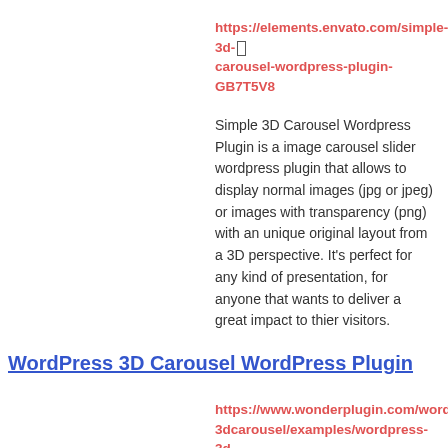https://elements.envato.com/simple-3d-carousel-wordpress-plugin-GB7T5V8
Simple 3D Carousel Wordpress Plugin is a image carousel slider wordpress plugin that allows to display normal images (jpg or jpeg) or images with transparency (png) with an unique original layout from a 3D perspective. It’s perfect for any kind of presentation, for anyone that wants to deliver a great impact to thier visitors.
WordPress 3D Carousel WordPress Plugin
https://www.wonderplugin.com/wordpress-3dcarousel/examples/wordpress-3d-